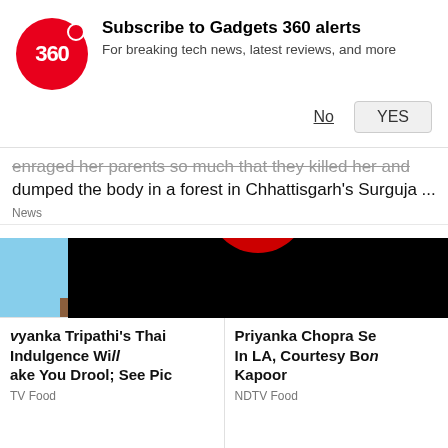[Figure (screenshot): Gadgets 360 subscription notification banner with red circle logo showing '360', bold text 'Subscribe to Gadgets 360 alerts', subtitle 'For breaking tech news, latest reviews, and more', and two buttons 'No' and 'YES']
enraged her parents so much that they killed her and dumped the body in a forest in Chhattisgarh's Surguja ...
News
[Figure (photo): Woman with long brown hair smiling on a balcony with blue sky background - likely Pooja Tripathi or similar Bollywood celebrity]
[Figure (screenshot): Video player overlay on dark background with red play button circle in center and X close button in top right corner]
Priyanka Tripathi's Thai Indulgence Will Make You Drool; See Pic
TV Food
Priyanka Chopra Se... In LA, Courtesy Bon Kapoor
NDTV Food